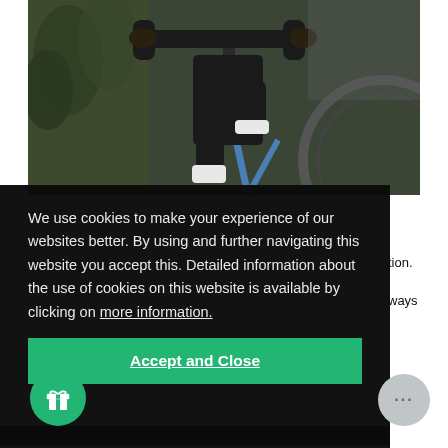[Figure (photo): A cyclist on an indoor bike, shown from torso down, gripping handlebars. Dark background with plants visible. Close-up action shot.]
We use cookies to make your experience of our websites better. By using and further navigating this website you accept this. Detailed information about the use of cookies on this website is available by clicking on more information.
Accept and Close